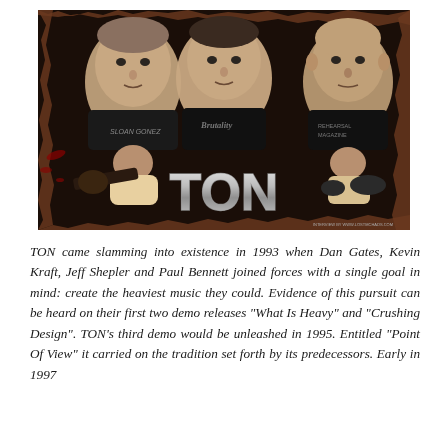[Figure (photo): Band photo of TON showing three members' faces across the top and two musicians performing at bottom, with the band name TON in large stylized metallic letters at the center bottom. The image has a distressed, torn brown/rust border effect.]
TON came slamming into existence in 1993 when Dan Gates, Kevin Kraft, Jeff Shepler and Paul Bennett joined forces with a single goal in mind: create the heaviest music they could. Evidence of this pursuit can be heard on their first two demo releases "What Is Heavy" and "Crushing Design". TON's third demo would be unleashed in 1995. Entitled "Point Of View" it carried on the tradition set forth by its predecessors. Early in 1997